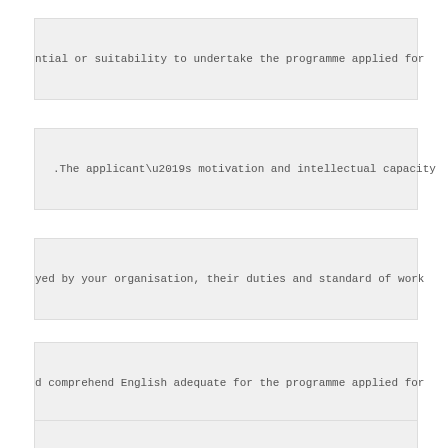ntial or suitability to undertake the programme applied for
.The applicant’s motivation and intellectual capacity
yed by your organisation, their duties and standard of work
d comprehend English adequate for the programme applied for